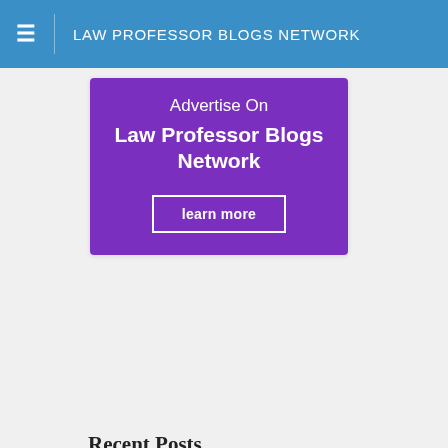LAW PROFESSOR BLOGS NETWORK
[Figure (advertisement): Purple advertisement banner reading 'Advertise On Law Professor Blogs Network' with a 'learn more' button]
Recent Posts
Moringiello & Odinet on Blockchains in Real Estate
LSU Looking for Property Law
Suffolk Looking for Property Law
Huq on Takings Law After "Cedar Point"